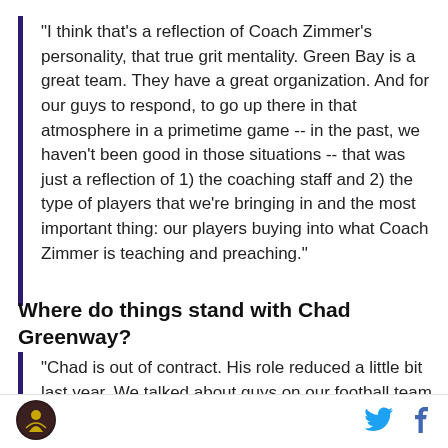"I think that's a reflection of Coach Zimmer's personality, that true grit mentality. Green Bay is a great team. They have a great organization. And for our guys to respond, to go up there in that atmosphere in a primetime game -- in the past, we haven't been good in those situations -- that was just a reflection of 1) the coaching staff and 2) the type of players that we're bringing in and the most important thing: our players buying into what Coach Zimmer is teaching and preaching."
Where do things stand with Chad Greenway?
"Chad is out of contract. His role reduced a little bit last year. We talked about guys on our football team
[Figure (logo): Circular logo with dark background featuring a stylized figure]
[Figure (logo): Twitter bird icon in light blue]
[Figure (logo): Facebook f icon in dark blue]